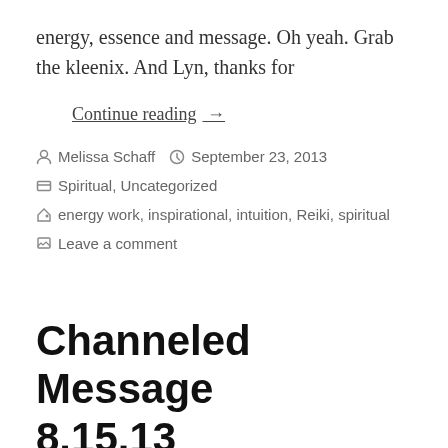energy, essence and message. Oh yeah. Grab the kleenix.  And Lyn, thanks for
Continue reading  →
Melissa Schaff   September 23, 2013
Spiritual, Uncategorized
energy work, inspirational, intuition, Reiki, spiritual
Leave a comment
Channeled Message 8.15.13
Normal 0 false false false EN-US X-NONE X-NONE